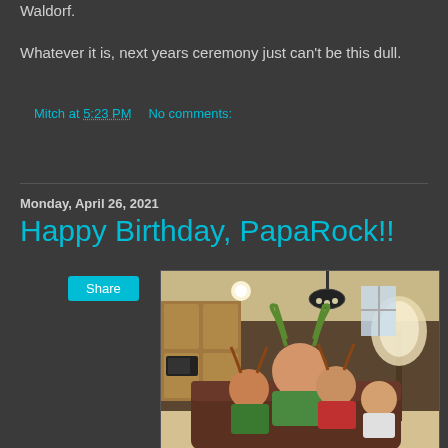Waldorf.
Whatever it is, next years ceremony just can't be this dull.
Mitch at 5:23 PM    No comments:
Share
Monday, April 26, 2021
Happy Birthday, PapaRock!!
[Figure (photo): A man sitting on a couch with three young boys, all wearing reindeer antler headbands, in a kitchen/living room setting.]